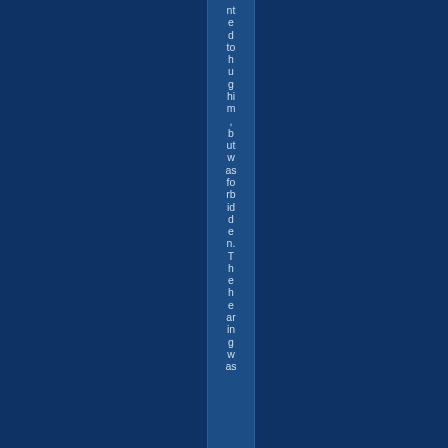nted to hug him, but was forbidden. The hearing was